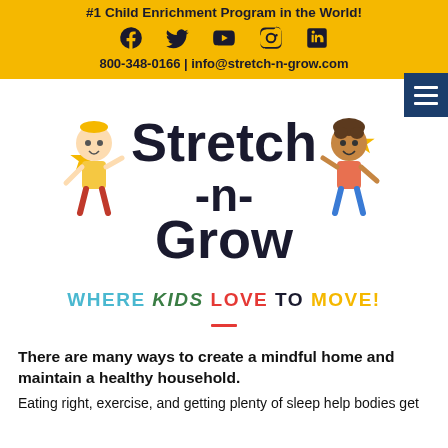#1 Child Enrichment Program in the World!
[Figure (logo): Social media icons: Facebook, Twitter, YouTube, Instagram, LinkedIn]
800-348-0166 | info@stretch-n-grow.com
[Figure (logo): Stretch-n-Grow logo with two cartoon children and stars. Tagline: WHERE KIDS LOVE TO MOVE!]
There are many ways to create a mindful home and maintain a healthy household.
Eating right, exercise, and getting plenty of sleep help bodies get